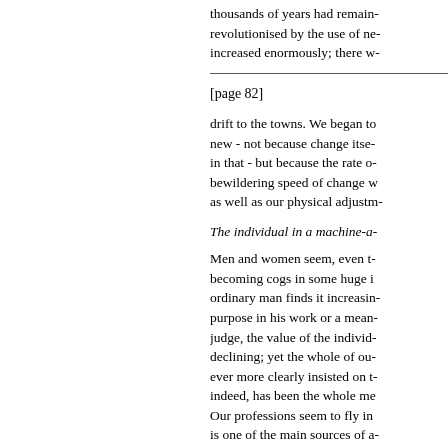thousands of years had remain- revolutionised by the use of ne- increased enormously; there w-
[page 82]
drift to the towns. We began to new - not because change itse- in that - but because the rate o- bewildering speed of change w as well as our physical adjustm-
The individual in a machine-a-
Men and women seem, even t- becoming cogs in some huge i ordinary man finds it increasin- purpose in his work or a mean- judge, the value of the individ- declining; yet the whole of ou- ever more clearly insisted on t- indeed, has been the whole me Our professions seem to fly in is one of the main sources of a-